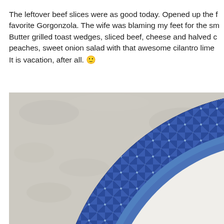The leftover beef slices were as good today. Opened up the favorite Gorgonzola. The wife was blaming my feet for the sm... Butter grilled toast wedges, sliced beef, cheese and halved c... peaches, sweet onion salad with that awesome cilantro lime ... It is vacation, after all. 🙂
[Figure (photo): Close-up photo of a decorative blue and white patterned plate rim on a grey stone/marble surface. The plate has a dark navy blue rim with geometric triangular/pinwheel patterns and a lighter blue inner band.]